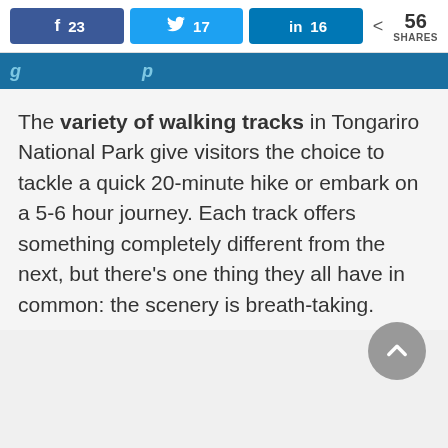[Figure (screenshot): Social share bar with Facebook (23), Twitter (17), LinkedIn (16), and total 56 SHARES]
g... p
The variety of walking tracks in Tongariro National Park give visitors the choice to tackle a quick 20-minute hike or embark on a 5-6 hour journey. Each track offers something completely different from the next, but there's one thing they all have in common: the scenery is breath-taking.